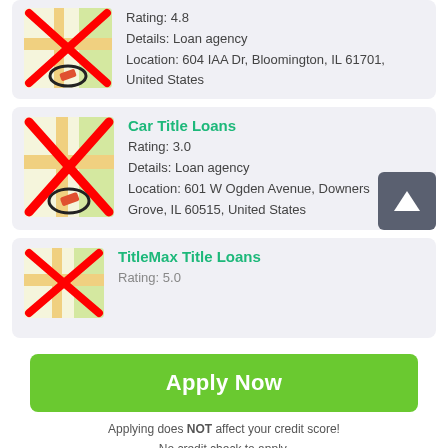[Figure (screenshot): Mobile app listing of loan agencies with map icons, ratings, and addresses. Includes Car Title Loans and TitleMax Title Loans entries, an Apply Now button, and a scroll-up navigation button.]
Rating: 4.8
Details: Loan agency
Location: 604 IAA Dr, Bloomington, IL 61701, United States
Car Title Loans
Rating: 3.0
Details: Loan agency
Location: 601 W Ogden Avenue, Downers Grove, IL 60515, United States
TitleMax Title Loans
Rating: 5.0
Apply Now
Applying does NOT affect your credit score!
No credit check to apply.